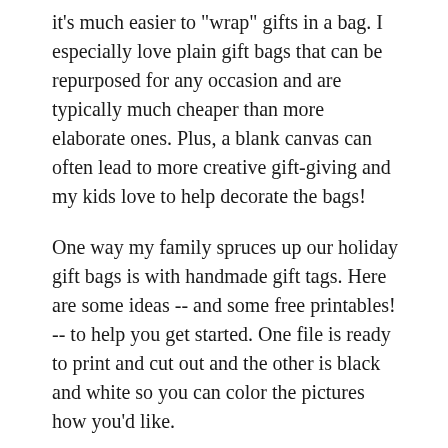it's much easier to "wrap" gifts in a bag. I especially love plain gift bags that can be repurposed for any occasion and are typically much cheaper than more elaborate ones. Plus, a blank canvas can often lead to more creative gift-giving and my kids love to help decorate the bags!
One way my family spruces up our holiday gift bags is with handmade gift tags. Here are some ideas -- and some free printables! -- to help you get started. One file is ready to print and cut out and the other is black and white so you can color the pictures how you'd like.
Supplies:
Plain gift bag